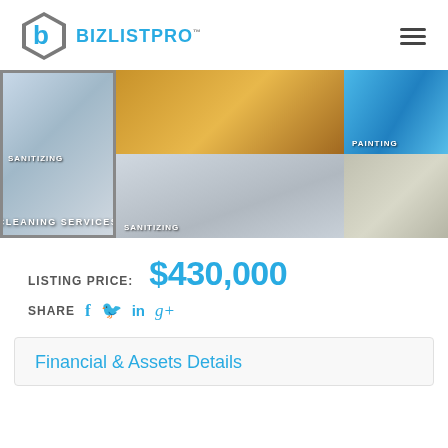[Figure (logo): BizListPro logo with hexagon icon and company name]
[Figure (photo): Collage of cleaning services images: sanitizing, cleaning services center, painting, sweeping, corridor cleaning]
LISTING PRICE: $430,000
SHARE f in g+
Financial & Assets Details